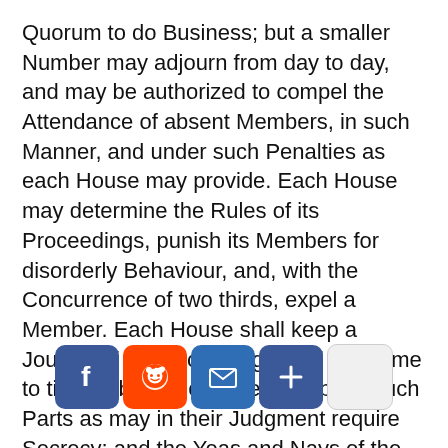Quorum to do Business; but a smaller Number may adjourn from day to day, and may be authorized to compel the Attendance of absent Members, in such Manner, and under such Penalties as each House may provide. Each House may determine the Rules of its Proceedings, punish its Members for disorderly Behaviour, and, with the Concurrence of two thirds, expel a Member. Each House shall keep a Journal of its Proceedings, and from time to time publish the same, excepting such Parts as may in their Judgment require Secrecy; and the Yeas and Nays of the Members of either House on any question shall, at the Desire of one fifth of those Present, be entered on the Journal. Neither House, during the Session of Congress,
[Figure (infographic): Social sharing bar with Facebook (blue), Reddit (orange), Email (blue), More/Plus (blue) icon buttons, and a white box button, overlaid on the bottom of the page.]